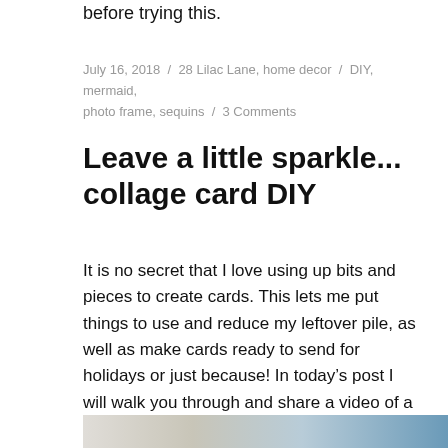before trying this.
July 16, 2018  /  28 Lilac Lane, home decor  /  DIY, mermaid, photo frame, sequins  /  3 Comments
Leave a little sparkle... collage card DIY
It is no secret that I love using up bits and pieces to create cards. This lets me put things to use and reduce my leftover pile, as well as make cards ready to send for holidays or just because! In today’s post I will walk you through and share a video of a recent creation.
[Figure (photo): Partial photo strip visible at bottom of page showing a crafting scene with muted beige and blue tones]